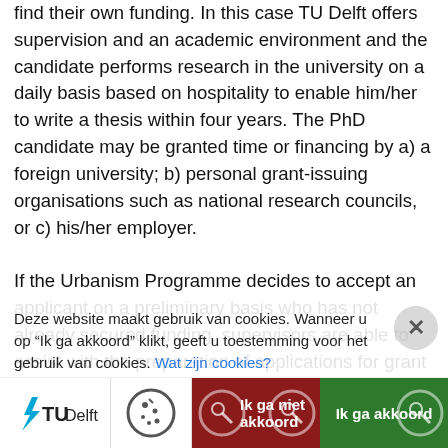find their own funding. In this case TU Delft offers supervision and an academic environment and the candidate performs research in the university on a daily basis based on hospitality to enable him/her to write a thesis within four years. The PhD candidate may be granted time or financing by a) a foreign university; b) personal grant-issuing organisations such as national research councils, or c) his/her employer.

If the Urbanism Programme decides to accept an applicant on a preliminary basis who has not already secured funding, supervisors are able to assist with the preparation of applications for grant funding, but the responsibility for finding funding rests with the applicant. Applicants will need to explain on their application where the...
Deze website maakt gebruik van cookies. Wanneer u op "Ik ga akkoord" klikt, geeft u toestemming voor het gebruik van cookies. Wat zijn cookies?
[Figure (screenshot): Bottom navigation bar with TU Delft logo, cookie settings icon, 'Ik ga niet akkoord' (reject) button in dark red, and 'Ik ga akkoord' (accept) button in green.]